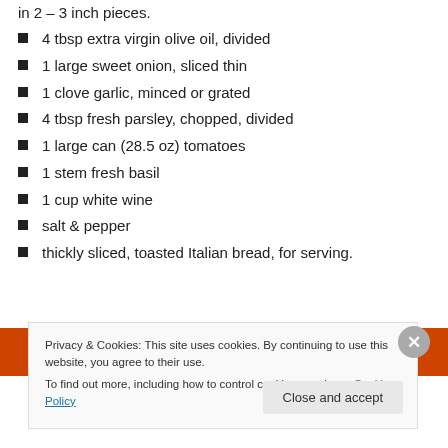in 2 – 3 inch pieces.
4 tbsp extra virgin olive oil, divided
1 large sweet onion, sliced thin
1 clove garlic, minced or grated
4 tbsp fresh parsley, chopped, divided
1 large can (28.5 oz) tomatoes
1 stem fresh basil
1 cup white wine
salt & pepper
thickly sliced, toasted Italian bread, for serving.
[Figure (photo): Dark banner with orange/red food imagery including tomatoes and peppers]
Privacy & Cookies: This site uses cookies. By continuing to use this website, you agree to their use.
To find out more, including how to control cookies, see here: Cookie Policy